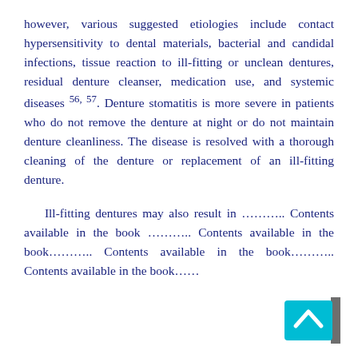however, various suggested etiologies include contact hypersensitivity to dental materials, bacterial and candidal infections, tissue reaction to ill-fitting or unclean dentures, residual denture cleanser, medication use, and systemic diseases 56, 57. Denture stomatitis is more severe in patients who do not remove the denture at night or do not maintain denture cleanliness. The disease is resolved with a thorough cleaning of the denture or replacement of an ill-fitting denture.
Ill-fitting dentures may also result in ……….. Contents available in the book ……….. Contents available in the book……….. Contents available in the book……….. Contents available in the book……
[Figure (other): Scroll-to-top button: cyan/teal square with white upward chevron arrow, with a partial dark overlay on the right edge]